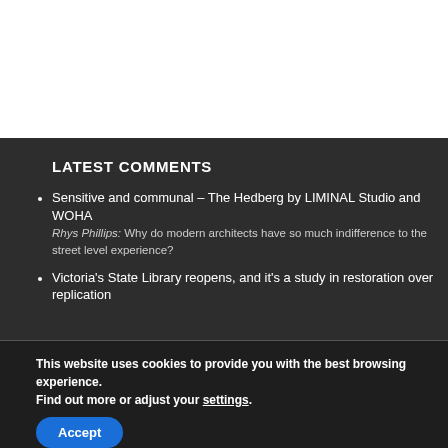LATEST COMMENTS
Sensitive and communal – The Hedberg by LIMINAL Studio and WOHA
Rhys Phillips: Why do modern architects have so much indifference to the street level experience?
Victoria’s State Library reopens, and it’s a study in restoration over replication
This website uses cookies to provide you with the best browsing experience.
Find out more or adjust your settings.
Accept